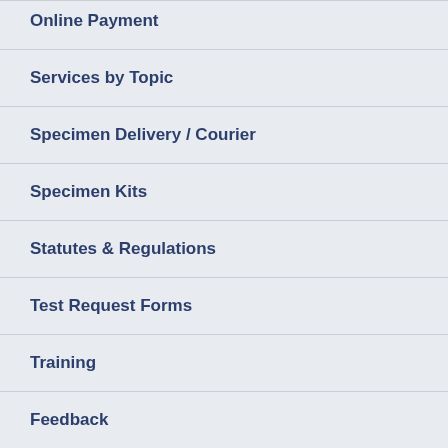Online Payment
Services by Topic
Specimen Delivery / Courier
Specimen Kits
Statutes & Regulations
Test Request Forms
Training
Feedback
Test Result Reports
Contact